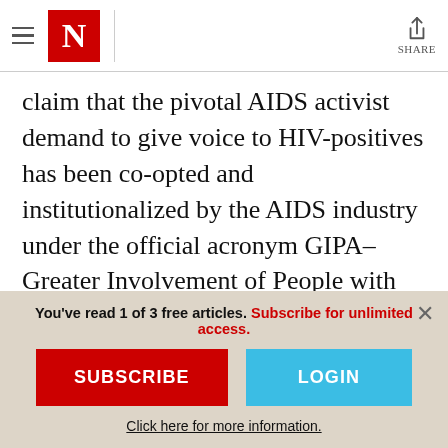The Nation – navigation bar with hamburger menu, N logo, and share button
claim that the pivotal AIDS activist demand to give voice to HIV-positives has been co-opted and institutionalized by the AIDS industry under the official acronym GIPA– Greater Involvement of People with AIDS– sometimes resulting in the dogmatic insistence that those who are infected with HIV are inevitably best positioned to lead the
You've read 1 of 3 free articles. Subscribe for unlimited access.
SUBSCRIBE
LOGIN
Click here for more information.